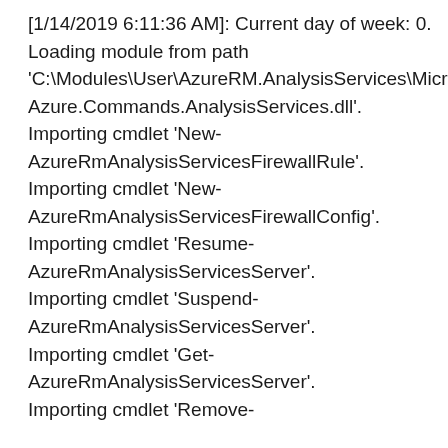[1/14/2019 6:11:36 AM]: Current day of week: 0. Loading module from path 'C:\Modules\User\AzureRM.AnalysisServices\Microsoft.Azure.Commands.AnalysisServices.dll'. Importing cmdlet 'New-AzureRmAnalysisServicesFirewallRule'. Importing cmdlet 'New-AzureRmAnalysisServicesFirewallConfig'. Importing cmdlet 'Resume-AzureRmAnalysisServicesServer'. Importing cmdlet 'Suspend-AzureRmAnalysisServicesServer'. Importing cmdlet 'Get-AzureRmAnalysisServicesServer'. Importing cmdlet 'Remove-